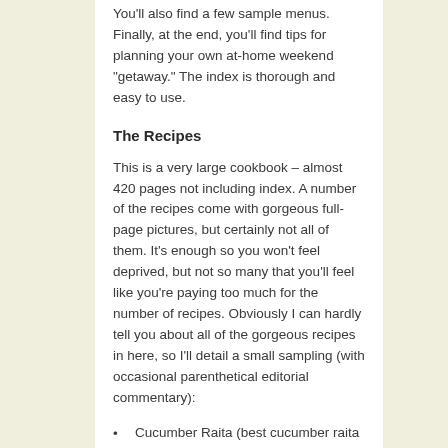You'll also find a few sample menus. Finally, at the end, you'll find tips for planning your own at-home weekend “getaway.” The index is thorough and easy to use.
The Recipes
This is a very large cookbook – almost 420 pages not including index. A number of the recipes come with gorgeous full-page pictures, but certainly not all of them. It's enough so you won't feel deprived, but not so many that you'll feel like you're paying too much for the number of recipes. Obviously I can hardly tell you about all of the gorgeous recipes in here, so I’ll detail a small sampling (with occasional parenthetical editorial commentary):
Cucumber Raita (best cucumber raita we've ever tried!)
Butternut Squash and Cider Soup
Corn Chowder with Chipotle Pepper (fantastic!)
Hot and Sour Soup (quite good, if not amazing)
Melon Bowls with Curried Crab
Winter Bean and Celery Salad with Root Parsnip